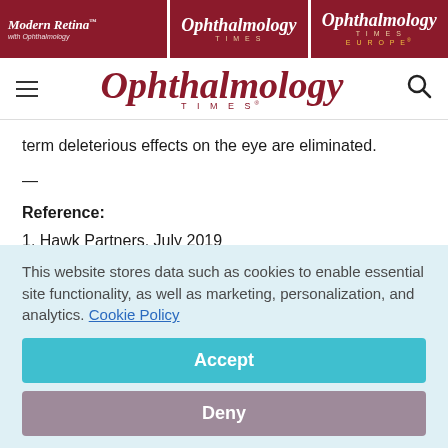[Figure (screenshot): Navigation header with Modern Retina, Ophthalmology Times, and Ophthalmology Times Europe logos on dark red background]
[Figure (logo): Ophthalmology Times logo in dark red italic serif font with hamburger menu and search icon]
term deleterious effects on the eye are eliminated.
—
Reference:
1. Hawk Partners, July 2019
This website stores data such as cookies to enable essential site functionality, as well as marketing, personalization, and analytics. Cookie Policy
Accept
Deny